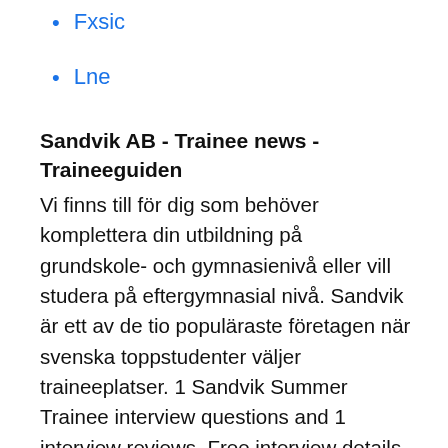Fxsic
Lne
Sandvik AB - Trainee news - Traineeguiden
Vi finns till för dig som behöver komplettera din utbildning på grundskole- och gymnasienivå eller vill studera på eftergymnasial nivå. Sandvik är ett av de tio populäraste företagen när svenska toppstudenter väljer traineeplatser. 1 Sandvik Summer Trainee interview questions and 1 interview reviews. Free interview details posted anonymously by Sandvik interview candidates. Sandvik Hiring Fresher Diploma Mechanical candidates for the post of Trainee Technologist at Pune Location. All Respective Degree Holder are eligible for same and apply link are given below